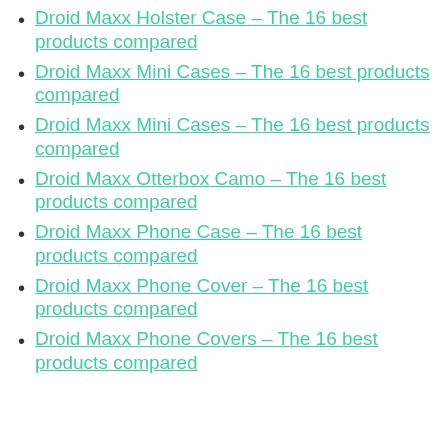Droid Maxx Holster Case – The 16 best products compared
Droid Maxx Mini Cases – The 16 best products compared
Droid Maxx Mini Cases – The 16 best products compared
Droid Maxx Otterbox Camo – The 16 best products compared
Droid Maxx Phone Case – The 16 best products compared
Droid Maxx Phone Cover – The 16 best products compared
Droid Maxx Phone Covers – The 16 best products compared